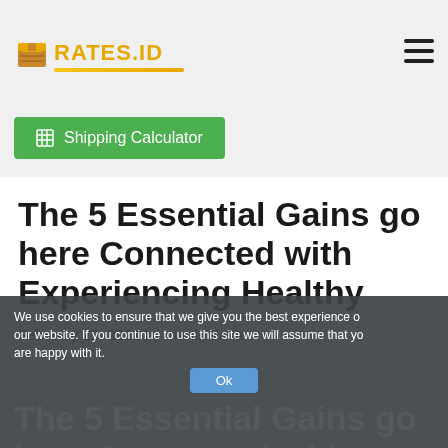RATES.ID
[Figure (screenshot): Shipping Calculator green button]
The 5 Essential Gains go here Connected with Experiencing Healthy
February 23, 2021 by martin dasa
We use cookies to ensure that we give you the best experience on our website. If you continue to use this site we will assume that you are happy with it.
Ok